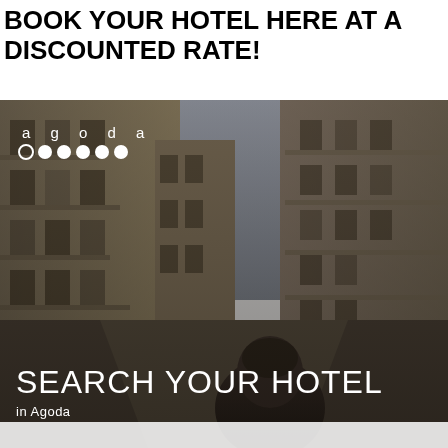BOOK YOUR HOTEL HERE AT A DISCOUNTED RATE!
[Figure (photo): Agoda hotel booking advertisement showing a person looking up at tall European-style buildings lining a narrow street (Venice-like canal street). The Agoda logo with dots appears in top-left of the image. Overlay text reads 'SEARCH YOUR HOTEL in Agoda'.]